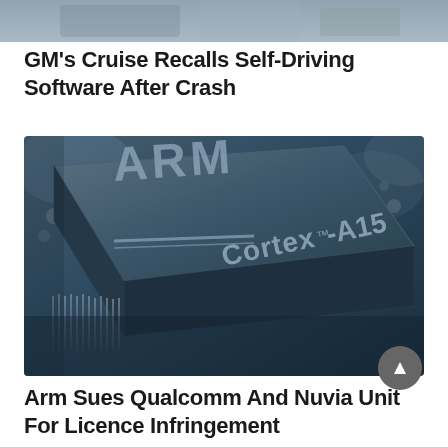[Figure (photo): Partial photo at top of page, cropped — appears to show hands or a person, cut off]
GM's Cruise Recalls Self-Driving Software After Crash
[Figure (photo): Close-up photo of an ARM Cortex-A15 processor chip with blue tinted lighting, showing the ARM logo and Cortex-A15 branding engraved on the chip surface]
Arm Sues Qualcomm And Nuvia Unit For Licence Infringement